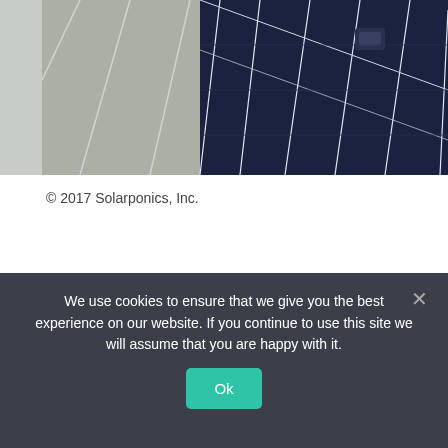[Figure (photo): Close-up photograph of solar panels, showing both a dusty/dirty panel on the left and a clean dark blue panel on the right with white grid lines.]
© 2017 Solarponics, Inc.
Community Solar News
August 29, 2017
Clean Solar Panels, Solar Panel Cleaning, Solar Panel Efficiency
We use cookies to ensure that we give you the best experience on our website. If you continue to use this site we will assume that you are happy with it.